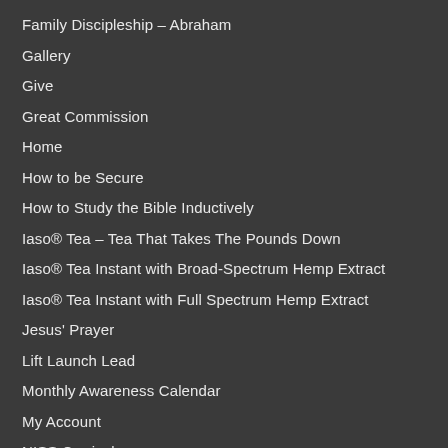Family Discipleship – Abraham
Gallery
Give
Great Commission
Home
How to be Secure
How to Study the Bible Inductively
Iaso® Tea – Tea That Takes The Pounds Down
Iaso® Tea Instant with Broad-Spectrum Hemp Extract
Iaso® Tea Instant with Full Spectrum Hemp Extract
Jesus' Prayer
Lift Launch Lead
Monthly Awareness Calendar
My Account
NISS Curriculum
Other Places to Purchase
Pray For